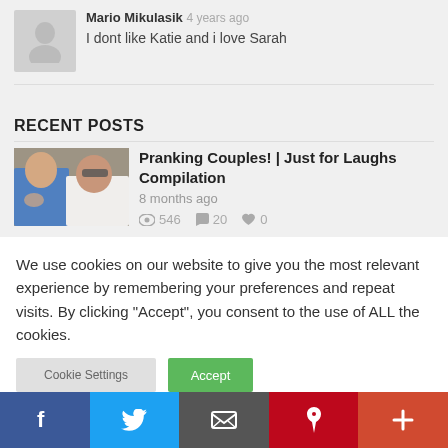Mario Mikulasik 4 years ago
I dont like Katie and i love Sarah
RECENT POSTS
[Figure (photo): Thumbnail of two people looking shocked, a man in a blue shirt and a woman in white with sunglasses]
Pranking Couples! | Just for Laughs Compilation
8 months ago
546 views, 20 comments, 0 likes
We use cookies on our website to give you the most relevant experience by remembering your preferences and repeat visits. By clicking "Accept", you consent to the use of ALL the cookies.